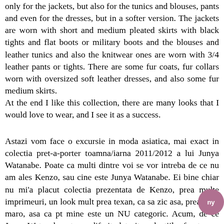only for the jackets, but also for the tunics and blouses, pants and even for the dresses, but in a softer version. The jackets are worn with short and medium pleated skirts with black tights and flat boots or military boots and the blouses and leather tunics and also the knitwear ones are worn with 3/4 leather pants or tights. There are some fur coats, fur collars worn with oversized soft leather dresses, and also some fur medium skirts. At the end I like this collection, there are many looks that I would love to wear, and I see it as a success.
Astazi vom face o excursie in moda asiatica, mai exact in colectia pret-a-porter toamna/iarna 2011/2012 a lui Junya Watanabe. Poate ca multi dintre voi se vor intreba de ce nu am ales Kenzo, sau cine este Junya Watanabe. Ei bine chiar nu mi'a placut colectia prezentata de Kenzo, prea multe imprimeuri, un look mult prea texan, ca sa zic asa, prea mult maro, asa ca pt mine este un NU categoric. Acum, de ce Junya Watanabe, pt ca e diferit, datorita colectiilor foarte